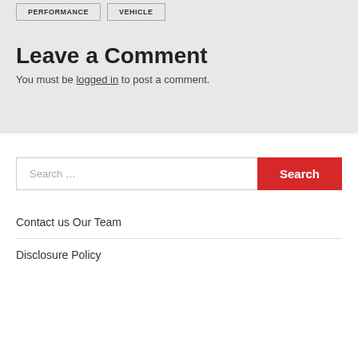PERFORMANCE
VEHICLE
Leave a Comment
You must be logged in to post a comment.
Search …
Search
Contact us Our Team
Disclosure Policy